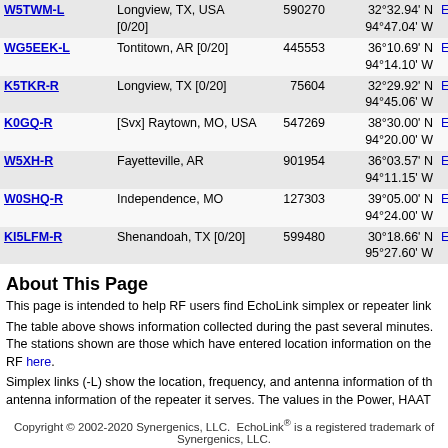| Callsign | Location | Frequency | Coordinates | Grid |  |
| --- | --- | --- | --- | --- | --- |
| W5TWM-L | Longview, TX, USA [0/20] | 590270 | 32°32.94' N 94°47.04' W | EM22on | 1 |
| WG5EEK-L | Tontitown, AR [0/20] | 445553 | 36°10.69' N 94°14.10' W | EM26ve | 1 |
| K5TKR-R | Longview, TX [0/20] | 75604 | 32°29.92' N 94°45.06' W | EM22ol | 1 |
| K0GQ-R | [Svx] Raytown, MO, USA | 547269 | 38°30.00' N 94°20.00' W | EM28um | 1 |
| W5XH-R | Fayetteville, AR | 901954 | 36°03.57' N 94°11.15' W | EM26vb | 1 |
| W0SHQ-R | Independence, MO | 127303 | 39°05.00' N 94°24.00' W | EM29tb | 1 |
| KI5LFM-R | Shenandoah, TX [0/20] | 599480 | 30°18.66' N 95°27.60' W | EM20gh | 1 |
About This Page
This page is intended to help RF users find EchoLink simplex or repeater link...
The table above shows information collected during the past several minutes. The stations shown are those which have entered location information on the RF... here.
Simplex links (-L) show the location, frequency, and antenna information of the... antenna information of the repeater it serves. The values in the Power, HAAT...
Copyright © 2002-2020 Synergenics, LLC.  EchoLink® is a registered trademark of Synergenics, LLC.